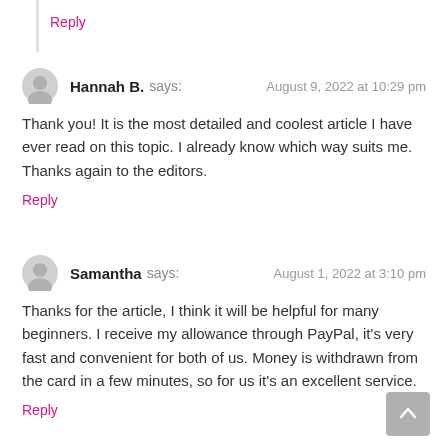Reply
Hannah B. says:
August 9, 2022 at 10:29 pm
Thank you! It is the most detailed and coolest article I have ever read on this topic. I already know which way suits me. Thanks again to the editors.
Reply
Samantha says:
August 1, 2022 at 3:10 pm
Thanks for the article, I think it will be helpful for many beginners. I receive my allowance through PayPal, it's very fast and convenient for both of us. Money is withdrawn from the card in a few minutes, so for us it's an excellent service.
Reply